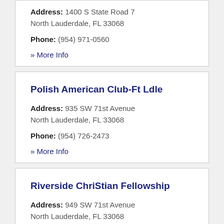Address: 1400 S State Road 7
North Lauderdale, FL 33068
Phone: (954) 971-0560
» More Info
Polish American Club-Ft Ldle
Address: 935 SW 71st Avenue
North Lauderdale, FL 33068
Phone: (954) 726-2473
» More Info
Riverside ChriStian Fellowship
Address: 949 SW 71st Avenue
North Lauderdale, FL 33068